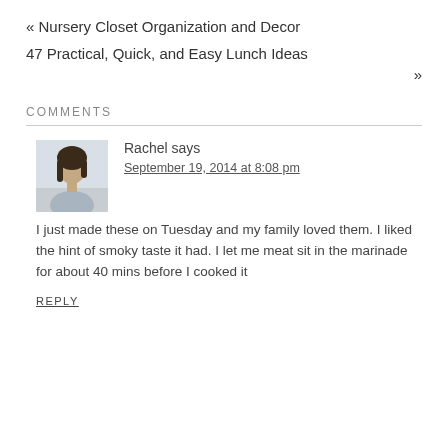« Nursery Closet Organization and Decor
47 Practical, Quick, and Easy Lunch Ideas
»
COMMENTS
Rachel says
September 19, 2014 at 8:08 pm
I just made these on Tuesday and my family loved them. I liked the hint of smoky taste it had. I let me meat sit in the marinade for about 40 mins before I cooked it
REPLY